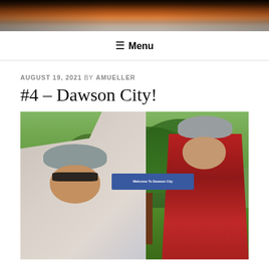[Figure (photo): Header banner photo showing a sunset or dramatic sky over water with a silhouette]
≡ Menu
AUGUST 19, 2021 BY AMUELLER
#4 – Dawson City!
[Figure (photo): Two cyclists wearing helmets taking a selfie in front of a 'Welcome To Dawson City' sign. The person on the left is a man wearing sunglasses and a plaid shirt. The person on the right is a woman wearing a red flannel shirt. There are trees in the background.]